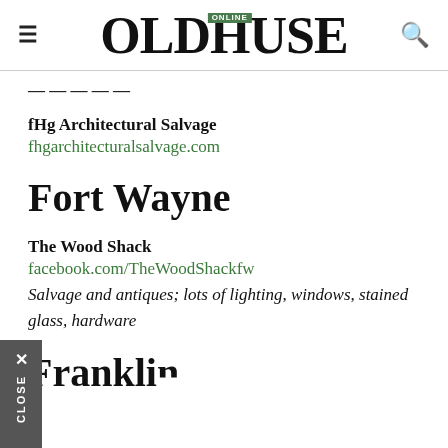OLDHOUSE ONLINE
fHg Architectural Salvage
fhgarchitecturalsalvage.com
Fort Wayne
The Wood Shack
facebook.com/TheWoodShackfw
Salvage and antiques; lots of lighting, windows, stained glass, hardware
Franklin